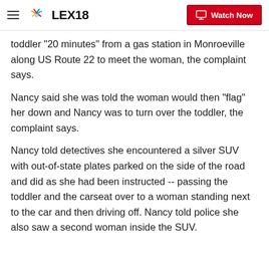LEX18 | Watch Now
toddler "20 minutes" from a gas station in Monroeville along US Route 22 to meet the woman, the complaint says.
Nancy said she was told the woman would then "flag" her down and Nancy was to turn over the toddler, the complaint says.
Nancy told detectives she encountered a silver SUV with out-of-state plates parked on the side of the road and did as she had been instructed -- passing the toddler and the carseat over to a woman standing next to the car and then driving off. Nancy told police she also saw a second woman inside the SUV.